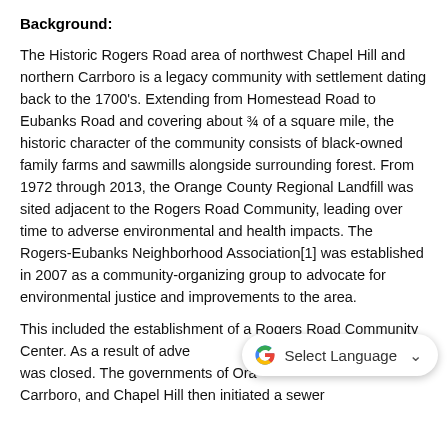Background:
The Historic Rogers Road area of northwest Chapel Hill and northern Carrboro is a legacy community with settlement dating back to the 1700's. Extending from Homestead Road to Eubanks Road and covering about ¾ of a square mile, the historic character of the community consists of black-owned family farms and sawmills alongside surrounding forest. From 1972 through 2013, the Orange County Regional Landfill was sited adjacent to the Rogers Road Community, leading over time to adverse environmental and health impacts. The Rogers-Eubanks Neighborhood Association[1] was established in 2007 as a community-organizing group to advocate for environmental justice and improvements to the area.
This included the establishment of a Rogers Road Community Center. As a result of adve... the landfill was closed. The governments of Orange County, Carrboro, and Chapel Hill then initiated a sewer